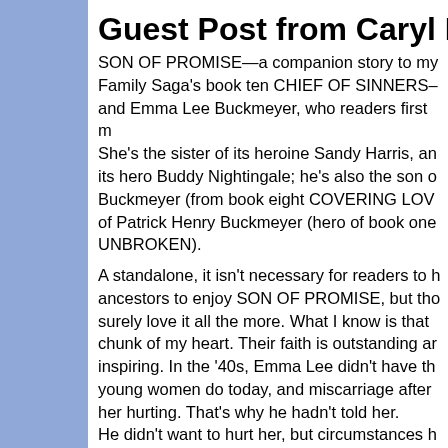Guest Post from Caryl McAdo
SON OF PROMISE—a companion story to my Family Saga's book ten CHIEF OF SINNERS– and Emma Lee Buckmeyer, who readers first m She's the sister of its heroine Sandy Harris, an its hero Buddy Nightingale; he's also the son o Buckmeyer (from book eight COVERING LOV of Patrick Henry Buckmeyer (hero of book one UNBROKEN).
A standalone, it isn't necessary for readers to h ancestors to enjoy SON OF PROMISE, but tho surely love it all the more. What I know is that chunk of my heart. Their faith is outstanding an inspiring. In the '40s, Emma Lee didn't have th young women do today, and miscarriage after her hurting. That's why he hadn't told her. He didn't want to hurt her, but circumstances h